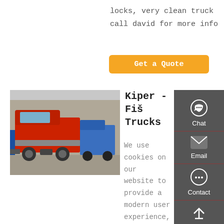locks, very clean truck call david for more info
Get a Quote
[Figure (photo): Red dump truck (Howo/Sinotruk style) parked in a yard with blue trucks in the background]
Kiper - Fiš Trucks
We use cookies on our website to provide a modern user experience, promotion and visit statistics. By selecting the "Accept all" option, you agree to the use of cookies.
Chat
Email
Contact
Top